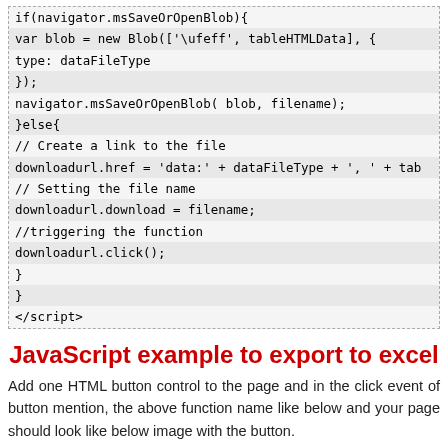[Figure (screenshot): Code block showing JavaScript snippet with if/else for msSaveOrOpenBlob and downloadurl handling]
JavaScript example to export to excel
Add one HTML button control to the page and in the click event of button mention, the above function name like below and your page should look like below image with the button.